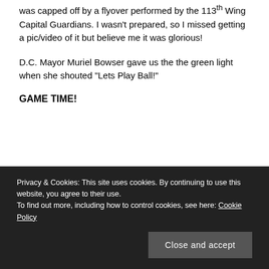was capped off by a flyover performed by the 113th Wing Capital Guardians. I wasn't prepared, so I missed getting a pic/video of it but believe me it was glorious!
D.C. Mayor Muriel Bowser gave us the the green light when she shouted “Lets Play Ball!”
GAME TIME!
Privacy & Cookies: This site uses cookies. By continuing to use this website, you agree to their use.
To find out more, including how to control cookies, see here: Cookie Policy
Close and accept